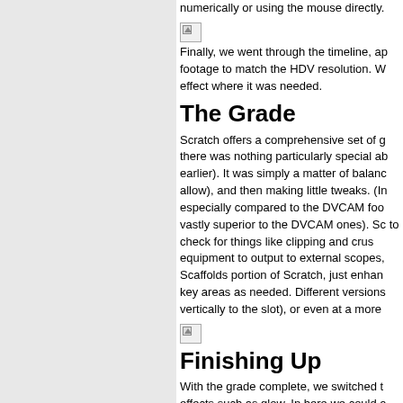[Figure (photo): Left panel showing a grainy/noisy gray texture background]
numerically or using the mouse directly.
[Figure (photo): Broken/missing image placeholder icon]
Finally, we went through the timeline, ap footage to match the HDV resolution. W effect where it was needed.
The Grade
Scratch offers a comprehensive set of g there was nothing particularly special ab earlier). It was simply a matter of balan allow), and then making little tweaks. (In especially compared to the DVCAM foo vastly superior to the DVCAM ones). Sc to check for things like clipping and cru equipment to output to external scopes, Scaffolds portion of Scratch, just enhan key areas as needed. Different versions vertically to the slot), or even at a more
[Figure (photo): Broken/missing image placeholder icon]
Finishing Up
With the grade complete, we switched t effects such as glow. In here we could a required some degree of resizing and re which is a great touch.
[Figure (photo): Broken/missing image placeholder icon]
The last thing that remains is to output...